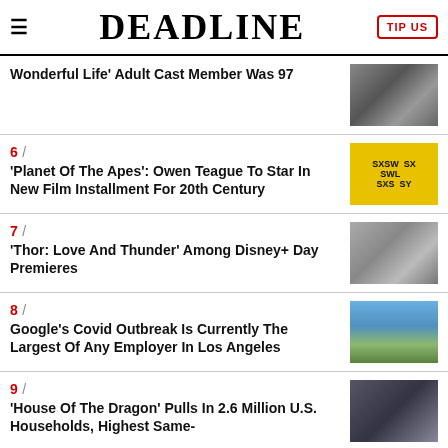DEADLINE
Wonderful Life' Adult Cast Member Was 97
6 / 'Planet Of The Apes': Owen Teague To Star In New Film Installment For 20th Century
7 / 'Thor: Love And Thunder' Among Disney+ Day Premieres
8 / Google's Covid Outbreak Is Currently The Largest Of Any Employer In Los Angeles
9 / 'House Of The Dragon' Pulls In 2.6 Million U.S. Households, Highest Same-